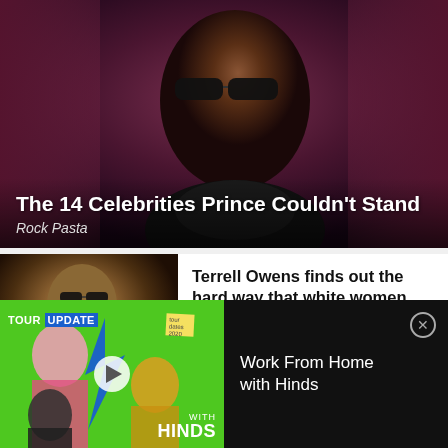[Figure (photo): Close-up photo of Prince wearing dark sunglasses against a purple/mauve curtain backdrop]
The 14 Celebrities Prince Couldn't Stand
Rock Pasta
[Figure (photo): Photo of Terrell Owens in a suit with sunglasses at a sports event]
Terrell Owens finds out the hard way that white women have perfected weaponizing their...
Sponsored | The Grio
[Figure (screenshot): Green music tour update advertisement thumbnail showing TOUR UPDATE with lightning bolt logo and WITH HINDS text, with play button overlay]
Work From Home with Hinds